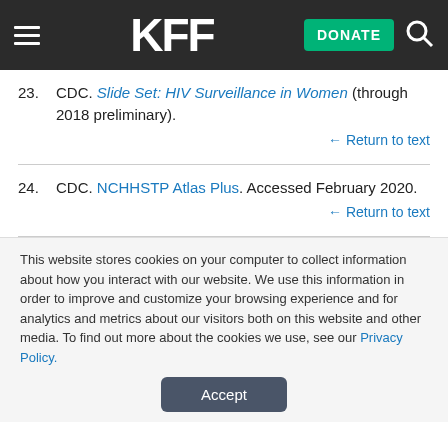KFF [DONATE]
23. CDC. Slide Set: HIV Surveillance in Women (through 2018 preliminary). ← Return to text
24. CDC. NCHHSTP Atlas Plus. Accessed February 2020. ← Return to text
This website stores cookies on your computer to collect information about how you interact with our website. We use this information in order to improve and customize your browsing experience and for analytics and metrics about our visitors both on this website and other media. To find out more about the cookies we use, see our Privacy Policy.
Accept